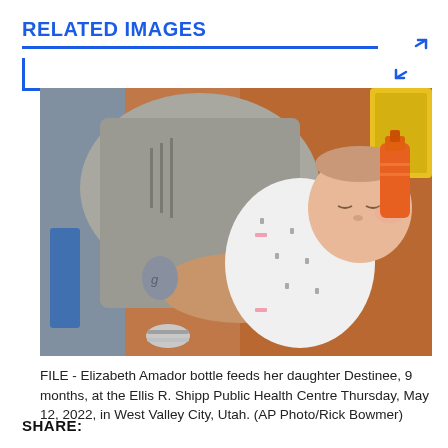RELATED IMAGES
[Figure (photo): A woman holds a baby and bottle feeds her. The baby is wearing a white patterned onesie with pink accents and striped socks. The woman has a tattoo on her arm. Background shows an orange/brown wall and yellow equipment.]
FILE - Elizabeth Amador bottle feeds her daughter Destinee, 9 months, at the Ellis R. Shipp Public Health Centre Thursday, May 12, 2022, in West Valley City, Utah. (AP Photo/Rick Bowmer)
SHARE: